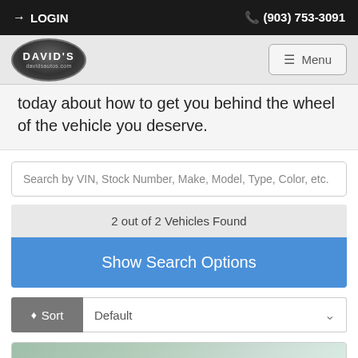LOGIN   (903) 753-3091
[Figure (logo): David's Autos oval logo with text DAVID'S and davidsautos.com]
today about how to get you behind the wheel of the vehicle you deserve.
Search by VIN, Stock Number, Make, Model, Type, Color, etc.
2 out of 2 Vehicles Found
Show Search Options
Sort   Default